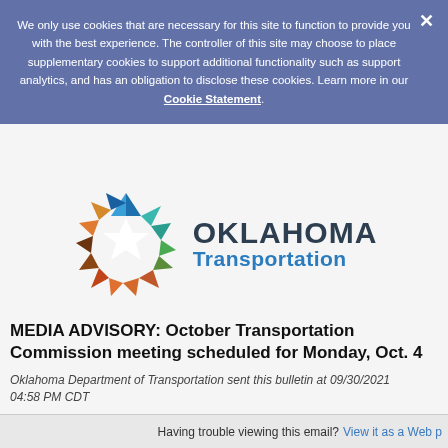We only use cookies that are necessary for this site to function to provide you with the best experience. The controller of this site may choose to place supplementary cookies to support additional functionality such as support analytics, and has an obligation to disclose these cookies. Learn more in our Cookie Statement.
[Figure (logo): Oklahoma Transportation logo with colorful geometric star/snowflake shape and text 'OKLAHOMA Transportation']
MEDIA ADVISORY: October Transportation Commission meeting scheduled for Monday, Oct. 4
Oklahoma Department of Transportation sent this bulletin at 09/30/2021 04:58 PM CDT
Having trouble viewing this email? View it as a Web p